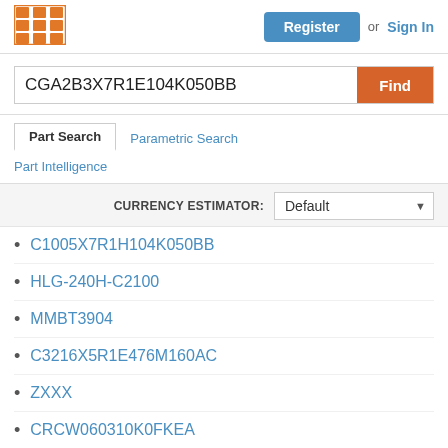Register or Sign In
CGA2B3X7R1E104K050BB
Find
Part Search | Parametric Search
Part Intelligence
CURRENCY ESTIMATOR: Default
C1005X7R1H104K050BB
HLG-240H-C2100
MMBT3904
C3216X5R1E476M160AC
ZXXX
CRCW060310K0FKEA
RC0402JR-070RL